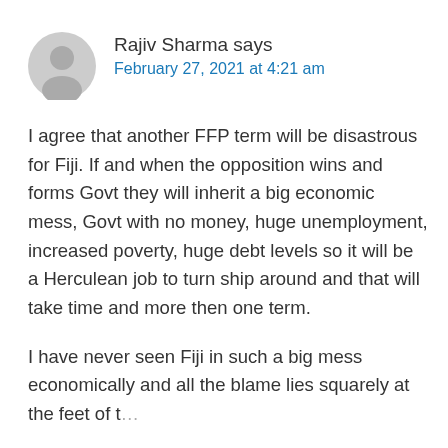Rajiv Sharma says
February 27, 2021 at 4:21 am
I agree that another FFP term will be disastrous for Fiji. If and when the opposition wins and forms Govt they will inherit a big economic mess, Govt with no money, huge unemployment, increased poverty, huge debt levels so it will be a Herculean job to turn ship around and that will take time and more then one term.
I have never seen Fiji in such a big mess economically and all the blame lies squarely at the feet of ...